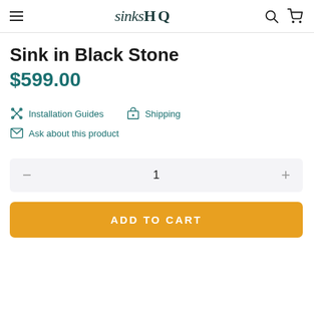sinksHQ
Sink in Black Stone
$599.00
Installation Guides
Shipping
Ask about this product
1
ADD TO CART